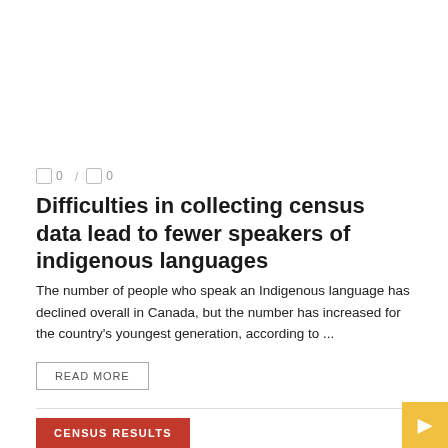0 / 0
Difficulties in collecting census data lead to fewer speakers of indigenous languages
The number of people who speak an Indigenous language has declined overall in Canada, but the number has increased for the country's youngest generation, according to ...
READ MORE
CENSUS RESULTS